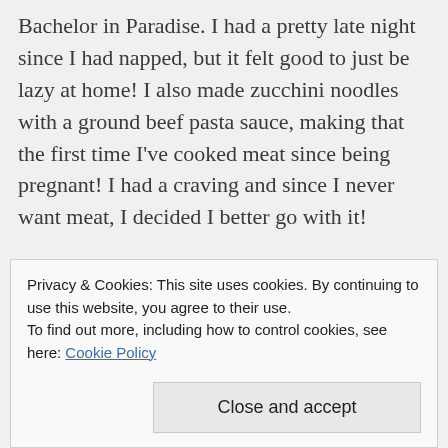Bachelor in Paradise. I had a pretty late night since I had napped, but it felt good to just be lazy at home! I also made zucchini noodles with a ground beef pasta sauce, making that the first time I've cooked meat since being pregnant! I had a craving and since I never want meat, I decided I better go with it!

This morning I went to Elite Edge via ClassPass. I actually meant to register for my MissFits class cause I love that one, but I registered at 10:20 last
Privacy & Cookies: This site uses cookies. By continuing to use this website, you agree to their use.
To find out more, including how to control cookies, see here: Cookie Policy

Close and accept